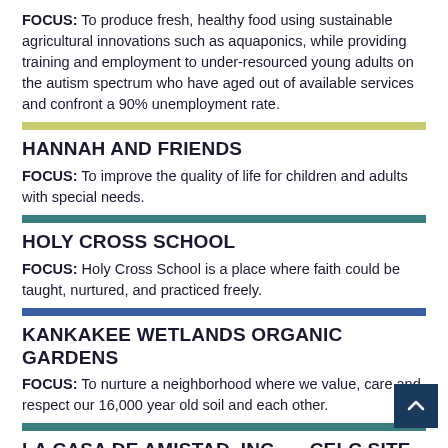FOCUS: To produce fresh, healthy food using sustainable agricultural innovations such as aquaponics, while providing training and employment to under-resourced young adults on the autism spectrum who have aged out of available services and confront a 90% unemployment rate.
HANNAH AND FRIENDS
FOCUS: To improve the quality of life for children and adults with special needs.
HOLY CROSS SCHOOL
FOCUS: Holy Cross School is a place where faith could be taught, nurtured, and practiced freely.
KANKAKEE WETLANDS ORGANIC GARDENS
FOCUS: To nurture a neighborhood where we value, care and respect our 16,000 year old soil and each other.
LA CASA DE AMISTAD, INC. — CELC SITE
FOCUS: To empower the Latino/a Latinx community within…